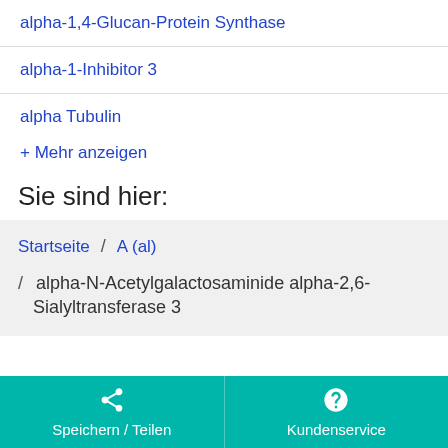alpha-1,4-Glucan-Protein Synthase
alpha-1-Inhibitor 3
alpha Tubulin
+ Mehr anzeigen
Sie sind hier:
Startseite / A (al) / alpha-N-Acetylgalactosaminide alpha-2,6-Sialyltransferase 3
Speichern / Teilen   Kundenservice